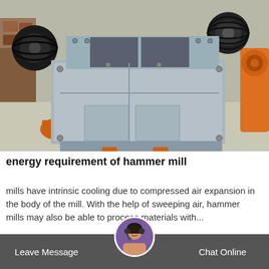[Figure (photo): Industrial hammer mill machine photographed outdoors. The machine is large and grey/silver colored with black wheels/pulleys, orange base supports, and visible bolts and structural elements. It sits on a concrete or dirt surface.]
energy requirement of hammer mill
mills have intrinsic cooling due to compressed air expansion in the body of the mill. With the help of sweeping air, hammer mills may also be able to process materials with...
Chat Online
Leave Message
Chat Online